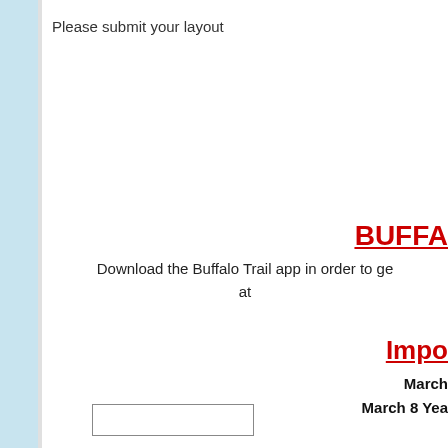Please submit your layout
BUFFA
Download the Buffalo Trail app in order to ge at
Impo
March
March 8 Yea